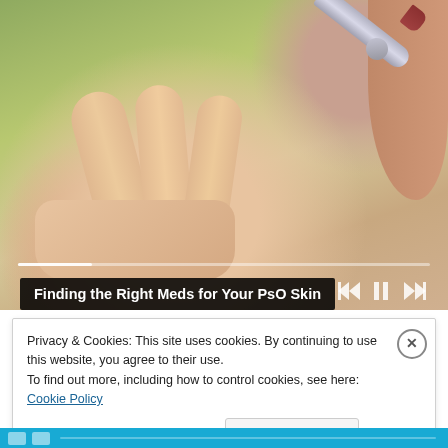[Figure (photo): A hand with open palm being applied cream/ointment from a silver tube, photographed outdoors with green background. Video player controls (skip back, pause, skip forward) visible at bottom right, with a progress bar.]
Finding the Right Meds for Your PsO Skin
Privacy & Cookies: This site uses cookies. By continuing to use this website, you agree to their use.
To find out more, including how to control cookies, see here: Cookie Policy
Close and accept